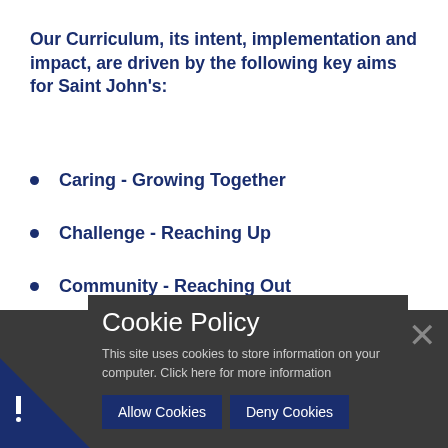Our Curriculum, its intent, implementation and impact, are driven by the following key aims for Saint John's:
Caring - Growing Together
Challenge - Reaching Up
Community - Reaching Out
Citizenship - Celebrating Diversity
Cookie Policy
This site uses cookies to store information on your computer. Click here for more information